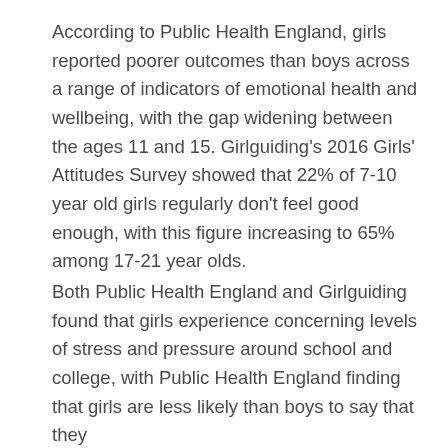According to Public Health England, girls reported poorer outcomes than boys across a range of indicators of emotional health and wellbeing, with the gap widening between the ages 11 and 15. Girlguiding's 2016 Girls' Attitudes Survey showed that 22% of 7-10 year old girls regularly don't feel good enough, with this figure increasing to 65% among 17-21 year olds.
Both Public Health England and Girlguiding found that girls experience concerning levels of stress and pressure around school and college, with Public Health England finding that girls are less likely than boys to say that they...